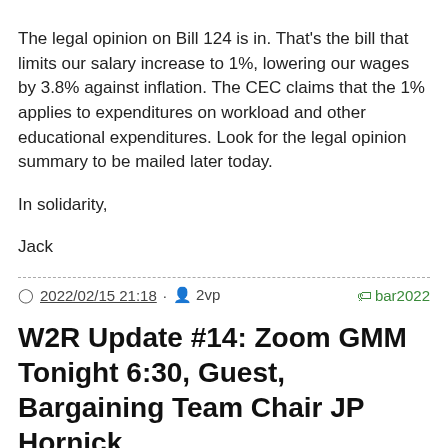The legal opinion on Bill 124 is in. That's the bill that limits our salary increase to 1%, lowering our wages by 3.8% against inflation. The CEC claims that the 1% applies to expenditures on workload and other educational expenditures. Look for the legal opinion summary to be mailed later today.
In solidarity,
Jack
2022/02/15 21:18 · 2vp  bar2022
W2R Update #14: Zoom GMM Tonight 6:30, Guest, Bargaining Team Chair JP Hornick
First, a quick note on today's College Employer Council's (CEC) Update. They have run out of things to say and so have repeated last week's canard that in matters of Equity